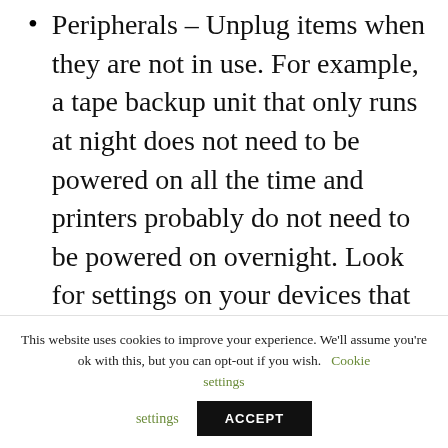Peripherals – Unplug items when they are not in use. For example, a tape backup unit that only runs at night does not need to be powered on all the time and printers probably do not need to be powered on overnight.  Look for settings on your devices that will put the unit in a low energy consumption mode after a set amount of time. Also, look for devices that run on the power provided through the
This website uses cookies to improve your experience. We'll assume you're ok with this, but you can opt-out if you wish.  Cookie settings  ACCEPT